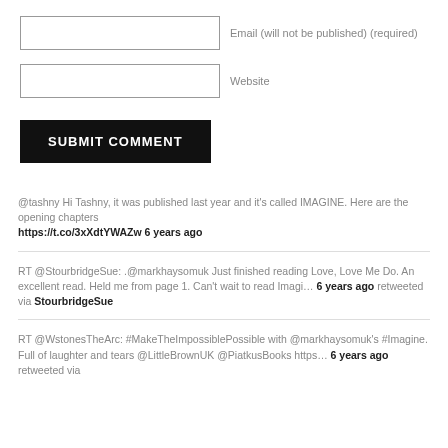Email (will not be published) (required)
Website
SUBMIT COMMENT
@tashny Hi Tashny, it was published last year and it's called IMAGINE. Here are the opening chapters https://t.co/3xXdtYWAZw 6 years ago
RT @StourbridgeSue: .@markhaysomuk Just finished reading Love, Love Me Do. An excellent read. Held me from page 1. Can't wait to read Imagi… 6 years ago retweeted via StourbridgeSue
RT @WstonesTheArc: #MakeTheImpossiblePossible with @markhaysomuk's #Imagine. Full of laughter and tears @LittleBrownUK @PiatkusBooks https… 6 years ago retweeted via